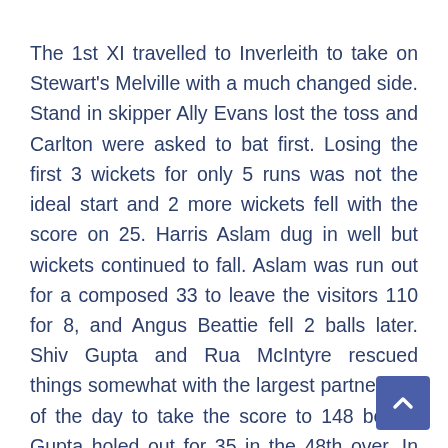The 1st XI travelled to Inverleith to take on Stewart's Melville with a much changed side. Stand in skipper Ally Evans lost the toss and Carlton were asked to bat first. Losing the first 3 wickets for only 5 runs was not the ideal start and 2 more wickets fell with the score on 25. Harris Aslam dug in well but wickets continued to fall. Aslam was run out for a composed 33 to leave the visitors 110 for 8, and Angus Beattie fell 2 balls later. Shiv Gupta and Rua McIntyre rescued things somewhat with the largest partnership of the day to take the score to 148 before Gupta holed out for 35 in the 48th over. In reply Gupta and Evans reduced the home side to 14 for 3 but a 55 run 4th wicket partnership tipped things the home side's way. Be eventually made the breakthrough but another